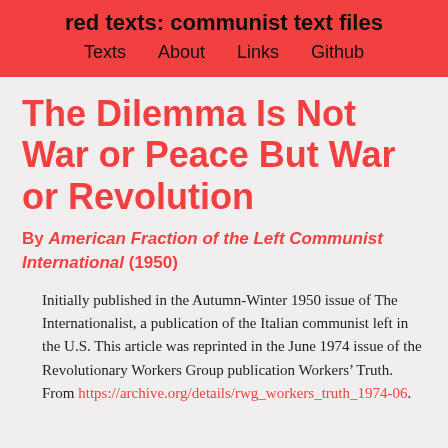red texts: communist text files
Texts   About   Links   Github
The Dilemma Is Not War or Peace But War or Revolution
By American Fraction of the Left Communist International (1950)
Initially published in the Autumn-Winter 1950 issue of The Internationalist, a publication of the Italian communist left in the U.S. This article was reprinted in the June 1974 issue of the Revolutionary Workers Group publication Workers’ Truth. From https://archive.org/details/rwg_workers_truth_1974-06.